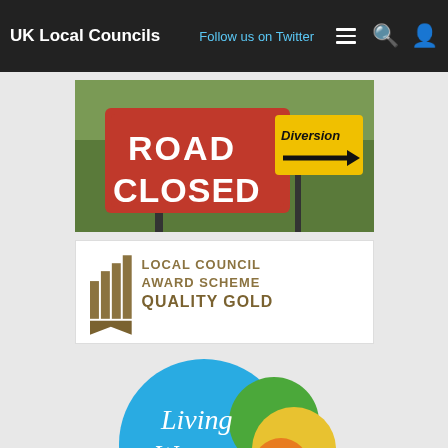UK Local Councils | Follow us on Twitter
[Figure (photo): Road Closed and Diversion signs on a road]
[Figure (logo): Local Council Award Scheme Quality Gold logo]
[Figure (logo): Living Wage Foundation logo with overlapping coloured circles]
[Figure (logo): Facebook logo on blue background]